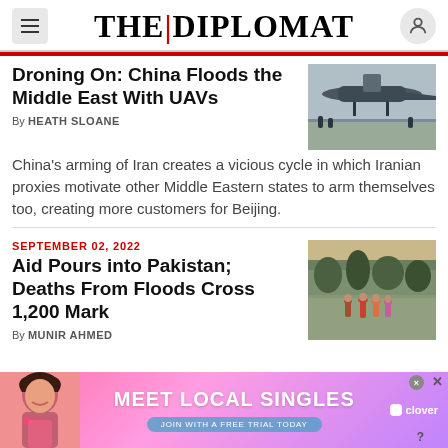THE | DIPLOMAT
Droning On: China Floods the Middle East With UAVs
By HEATH SLOANE
[Figure (photo): Drone/military aircraft on tarmac]
China's arming of Iran creates a vicious cycle in which Iranian proxies motivate other Middle Eastern states to arm themselves too, creating more customers for Beijing.
SEPTEMBER 02, 2022
Aid Pours into Pakistan; Deaths From Floods Cross 1,200 Mark
By MUNIR AHMED
[Figure (photo): People wading through floodwaters in Pakistan]
[Figure (other): Advertisement: MEET LOCAL SINGLES - Join with a free trial today - clover]